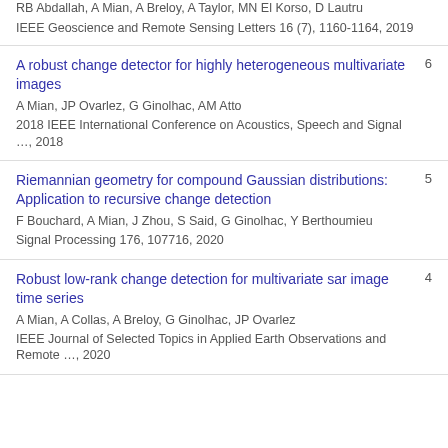RB Abdallah, A Mian, A Breloy, A Taylor, MN El Korso, D Lautru
IEEE Geoscience and Remote Sensing Letters 16 (7), 1160-1164, 2019
A robust change detector for highly heterogeneous multivariate images
A Mian, JP Ovarlez, G Ginolhac, AM Atto
2018 IEEE International Conference on Acoustics, Speech and Signal …, 2018
6
Riemannian geometry for compound Gaussian distributions: Application to recursive change detection
F Bouchard, A Mian, J Zhou, S Said, G Ginolhac, Y Berthoumieu
Signal Processing 176, 107716, 2020
5
Robust low-rank change detection for multivariate sar image time series
A Mian, A Collas, A Breloy, G Ginolhac, JP Ovarlez
IEEE Journal of Selected Topics in Applied Earth Observations and Remote …, 2020
4